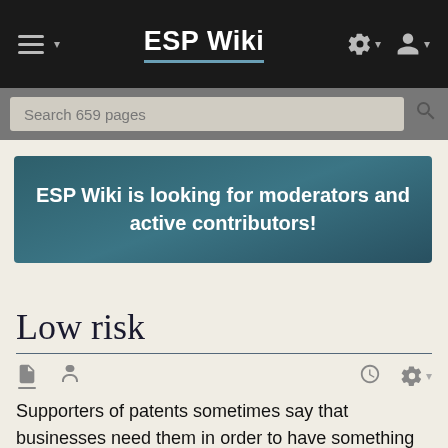ESP Wiki
Search 659 pages
ESP Wiki is looking for moderators and active contributors!
Low risk
Supporters of patents sometimes say that businesses need them in order to have something tangible in return for their initial investment into researching their product idea. However, in software development, where the necessary initial investment is usually relatively small,